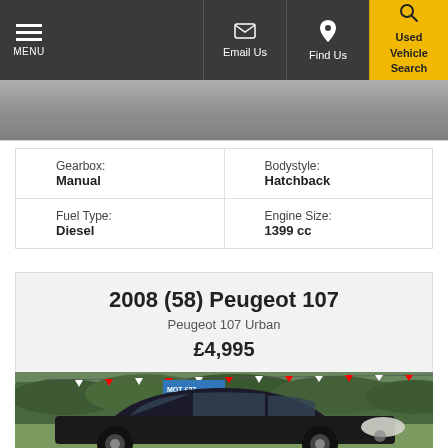MENU | Email Us | Find Us | Used Vehicle Search
[Figure (photo): Top portion of a car photo, cropped navigation bar area]
| Gearbox: | Manual | Bodystyle: | Hatchback |
| Fuel Type: | Diesel | Engine Size: | 1399 cc |
2008 (58) Peugeot 107
Peugeot 107 Urban
£4,995
[Figure (photo): Black Peugeot 107 hatchback parked at a dealership forecourt with green hedges and bunting in background, a blue MOT/Service sign visible]